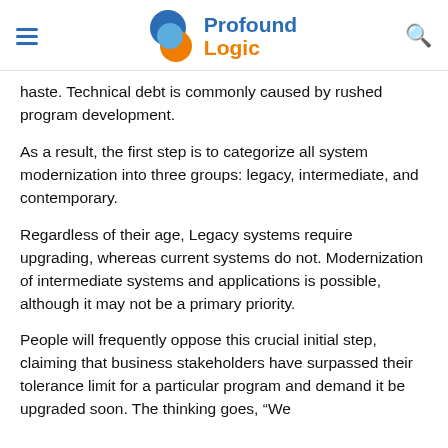Profound Logic
haste. Technical debt is commonly caused by rushed program development.
As a result, the first step is to categorize all system modernization into three groups: legacy, intermediate, and contemporary.
Regardless of their age, Legacy systems require upgrading, whereas current systems do not. Modernization of intermediate systems and applications is possible, although it may not be a primary priority.
People will frequently oppose this crucial initial step, claiming that business stakeholders have surpassed their tolerance limit for a particular program and demand it be upgraded soon. The thinking goes, “We